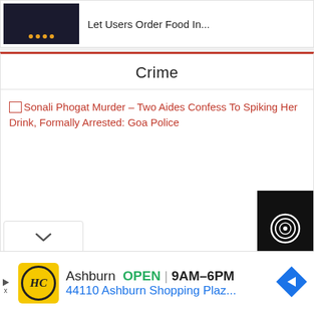Let Users Order Food In...
Crime
Sonali Phogat Murder – Two Aides Confess To Spiking Her Drink, Formally Arrested: Goa Police
[Figure (screenshot): Advertisement bar showing HC logo, Ashburn OPEN 9AM–6PM, 44110 Ashburn Shopping Plaz... with navigation arrow icon]